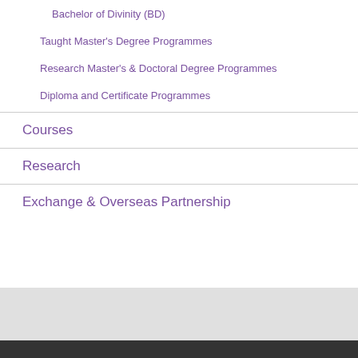Bachelor of Divinity (BD)
Taught Master's Degree Programmes
Research Master's & Doctoral Degree Programmes
Diploma and Certificate Programmes
Courses
Research
Exchange & Overseas Partnership